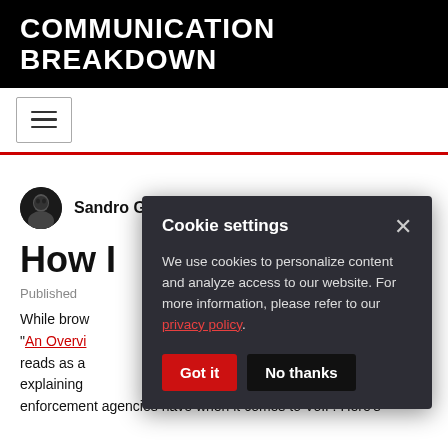COMMUNICATION BREAKDOWN
[Figure (other): Hamburger menu icon button (three horizontal lines) inside a bordered rectangle]
Sandro Gauci, Enable Security
How I...
Published...
While brow... "An Overvi... reads as a... explaining... enforcement agencies have when it comes to VoIP. Here's
Cookie settings
We use cookies to personalize content and analyze access to our website. For more information, please refer to our privacy policy.
Got it  No thanks